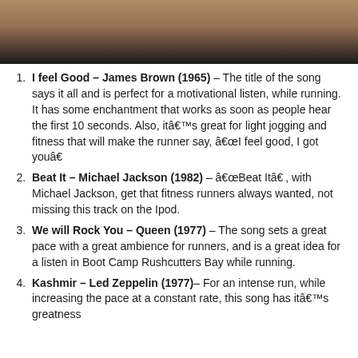[Figure (photo): Close-up photo of fingers/hand holding something, dark background with skin tones visible at top]
I feel Good – James Brown (1965) – The title of the song says it all and is perfect for a motivational listen, while running. It has some enchantment that works as soon as people hear the first 10 seconds. Also, itâ€™s great for light jogging and fitness that will make the runner say, â€œI feel good, I got youâ€
Beat It – Michael Jackson (1982) – â€œBeat Itâ€ , with Michael Jackson, get that fitness runners always wanted, not missing this track on the Ipod.
We will Rock You – Queen (1977) – The song sets a great pace with a great ambience for runners, and is a great idea for a listen in Boot Camp Rushcutters Bay while running.
Kashmir – Led Zeppelin (1977)– For an intense run, while increasing the pace at a constant rate, this song has itâ€™s greatness